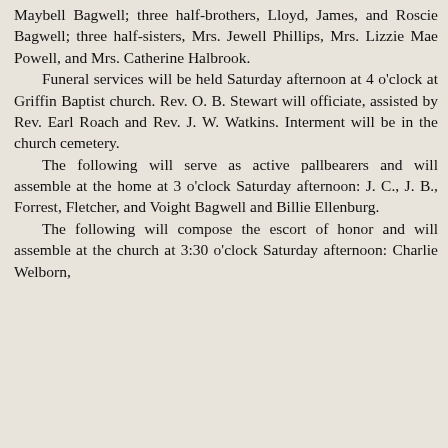Maybell Bagwell; three half-brothers, Lloyd, James, and Roscie Bagwell; three half-sisters, Mrs. Jewell Phillips, Mrs. Lizzie Mae Powell, and Mrs. Catherine Halbrook.

Funeral services will be held Saturday afternoon at 4 o'clock at Griffin Baptist church. Rev. O. B. Stewart will officiate, assisted by Rev. Earl Roach and Rev. J. W. Watkins. Interment will be in the church cemetery.

The following will serve as active pallbearers and will assemble at the home at 3 o'clock Saturday afternoon: J. C., J. B., Forrest, Fletcher, and Voight Bagwell and Billie Ellenburg.

The following will compose the escort of honor and will assemble at the church at 3:30 o'clock Saturday afternoon: Charlie Welborn,